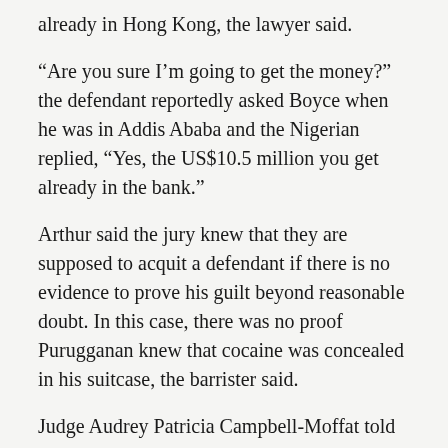already in Hong Kong, the lawyer said.
“Are you sure I’m going to get the money?” the defendant reportedly asked Boyce when he was in Addis Ababa and the Nigerian replied, “Yes, the US$10.5 million you get already in the bank.”
Arthur said the jury knew that they are supposed to acquit a defendant if there is no evidence to prove his guilt beyond reasonable doubt. In this case, there was no proof Purugganan knew that cocaine was concealed in his suitcase, the barrister said.
Judge Audrey Patricia Campbell-Moffat told the jury about a report on scams published Wednesday by the South China Morning Post. She expressed her concern they could have read the report and influence their verdict.
She told the jury to decide on their verdict based on